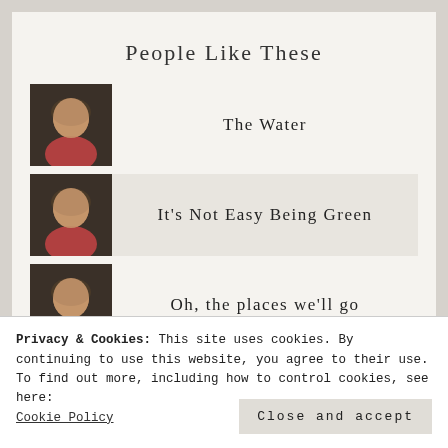People Like These
The Water
It's Not Easy Being Green
Oh, the places we'll go
Privacy & Cookies: This site uses cookies. By continuing to use this website, you agree to their use.
To find out more, including how to control cookies, see here: Cookie Policy
Close and accept